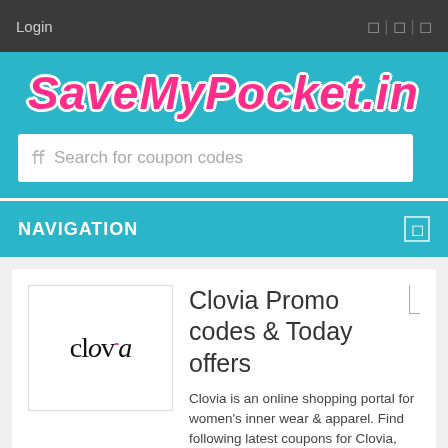Login
[Figure (logo): SaveMyPocket.in logo in bold italic pink text with white outline on teal background]
Search for coupon codes
NAVIGATION
[Figure (logo): Clovia brand logo in cursive black text with pink dots]
Clovia Promo codes & Today offers
Clovia is an online shopping portal for women's inner wear & apparel. Find following latest coupons for Clovia, Clovia voucher codes, Clovia promo codes and Clovia discount deals & Clovia offers.